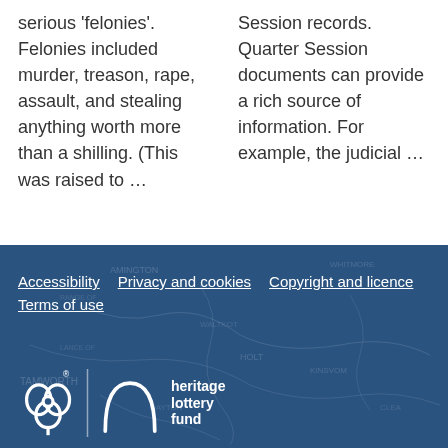serious 'felonies'. Felonies included murder, treason, rape, assault, and stealing anything worth more than a shilling. (This was raised to …
Session records. Quarter Session documents can provide a rich source of information. For example, the judicial …
Accessibility   Privacy and cookies   Copyright and licence   Terms of use
[Figure (logo): Heritage Lottery Fund logo with National Lottery symbol (clover/hand) and 'heritage lottery fund' text in white on dark blue background]